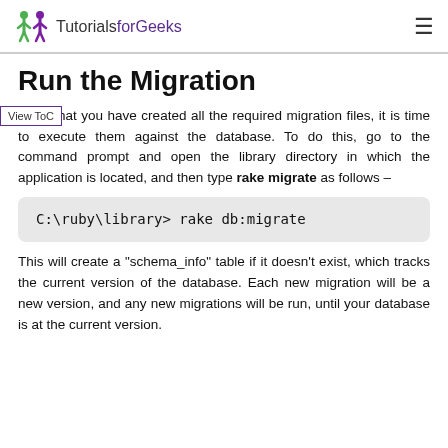TutorialsforGeeks
Run the Migration
Now that you have created all the required migration files, it is time to execute them against the database. To do this, go to the command prompt and open the library directory in which the application is located, and then type rake migrate as follows –
C:\ruby\library> rake db:migrate
This will create a "schema_info" table if it doesn't exist, which tracks the current version of the database. Each new migration will be a new version, and any new migrations will be run, until your database is at the current version.